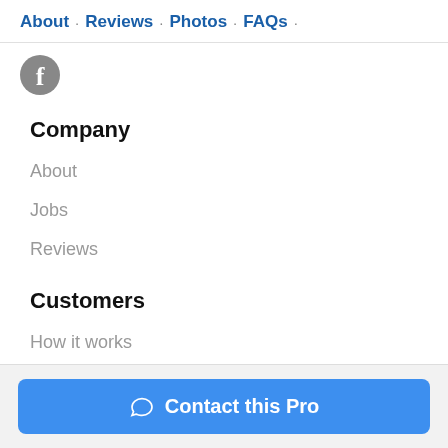About · Reviews · Photos · FAQs ·
[Figure (logo): Facebook icon — grey circle with white 'f' letter]
Company
About
Jobs
Reviews
Customers
How it works
Safety
Contact this Pro